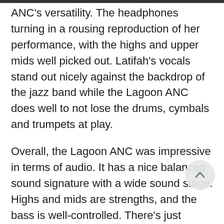ANC's versatility. The headphones turning in a rousing reproduction of her performance, with the highs and upper mids well picked out. Latifah's vocals stand out nicely against the backdrop of the jazz band while the Lagoon ANC does well to not lose the drums, cymbals and trumpets at play.
Overall, the Lagoon ANC was impressive in terms of audio. It has a nice balanced sound signature with a wide sound stage. Highs and mids are strengths, and the bass is well-controlled. There's just enough to be felt, but it does lean towards the tight end of the spectrum. The headphone seems to work well for a wide genre of music.
Noise-cancelling performance is where we felt a little let down by the headphones. It appears that